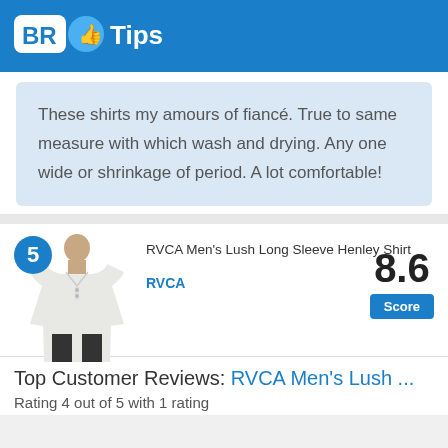[Figure (logo): BR Tips logo with thumbs up icon on blue header background]
These shirts my amours of fiancé. True to same measure with which wash and drying. Any one wide or shrinkage of period. A lot comfortable!
[Figure (photo): White RVCA Men's Lush Long Sleeve Henley Shirt worn by a male model, rank 5 badge]
RVCA Men's Lush Long Sleeve Henley Shirt
RVCA
8.6
Score
Top Customer Reviews: RVCA Men's Lush ...
Rating 4 out of 5 with 1 rating